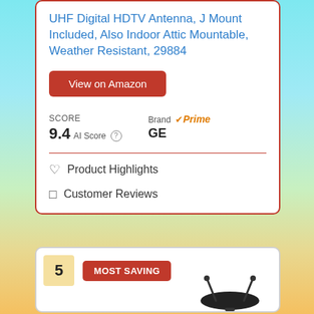UHF Digital HDTV Antenna, J Mount Included, Also Indoor Attic Mountable, Weather Resistant, 29884
View on Amazon
SCORE 9.4 AI Score | Brand Prime GE
Product Highlights
Customer Reviews
5 MOST SAVING